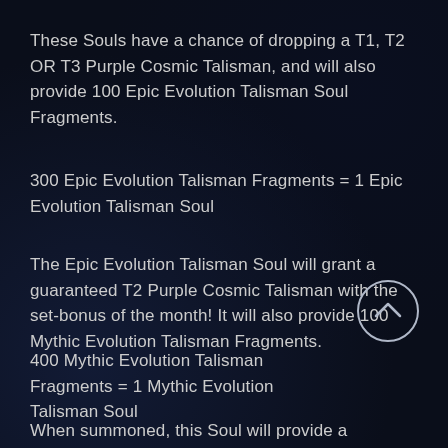These Souls have a chance of dropping a T1, T2 OR T3 Purple Cosmic Talisman, and will also provide 100 Epic Evolution Talisman Soul Fragments.
300 Epic Evolution Talisman Fragments = 1 Epic Evolution Talisman Soul
The Epic Evolution Talisman Soul will grant a guaranteed T2 Purple Cosmic Talisman with the set-bonus of the month! It will also provide 100 Mythic Evolution Talisman Fragments.
400 Mythic Evolution Talisman Fragments = 1 Mythic Evolution Talisman Soul
[Figure (other): Circular scroll-up button with chevron/arrow pointing up, outlined in light grey on dark background]
When summoned, this Soul will provide a